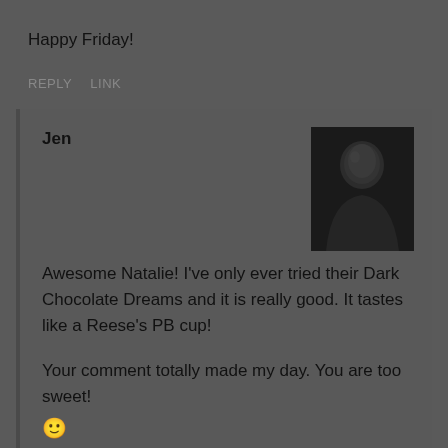Happy Friday!
REPLY   LINK
Jen
Awesome Natalie! I've only ever tried their Dark Chocolate Dreams and it is really good. It tastes like a Reese's PB cup!
Your comment totally made my day. You are too sweet! 🙂
REPLY   LINK